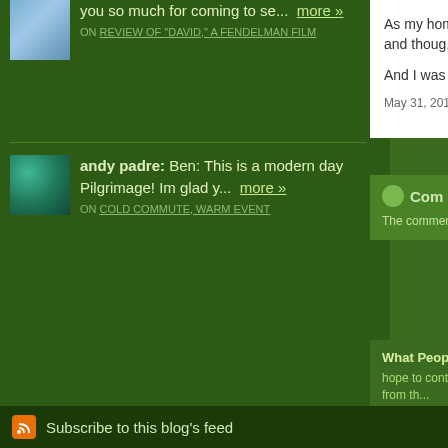you so much for coming to se... more »
ON REVIEW OF "DAVID," A FENDELMAN FILM
andy padre: Ben: This is a modern day Pilgrimage! Im glad y... more »
ON COLD COMMUTE, WARM EVENT
As my home empti... were left and thoug...
And I was thankful.
May 31, 2011 6:30:0
Com
The comments to t
Pr
What People are S
hope to continue to... experiences from th...
Subscribe to this blog's feed